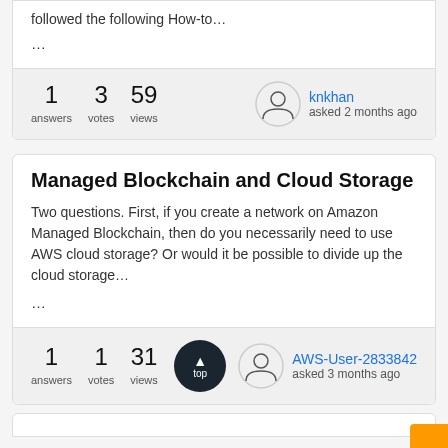followed the following How-to...
...
1 answers  3 votes  59 views  knkhan asked 2 months ago
Managed Blockchain and Cloud Storage
Two questions. First, if you create a network on Amazon Managed Blockchain, then do you necessarily need to use AWS cloud storage? Or would it be possible to divide up the cloud storage...
...
1 answers  1 votes  31 views  AWS-User-2833842 asked 3 months ago